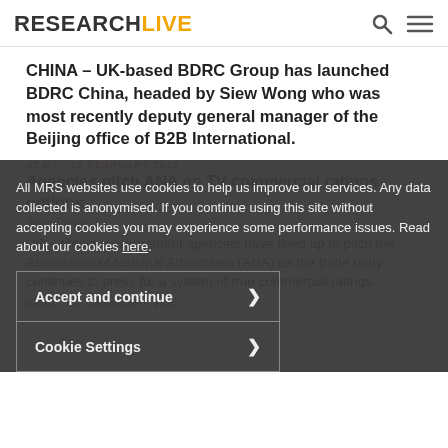RESEARCHLIVE
CHINA – UK-based BDRC Group has launched BDRC China, headed by Siew Wong who was most recently deputy general manager of the Beijing office of B2B International.
NEWS  11 FEBRUARY 2013
Agencies pitch ANA on TV commercial ratings options
Brian Tarran
US – Media measurement agencies have lined up to pitch the Association of National Advertisers (ANA) as the trade body continues to press for a system of true commercial ratings.
NEWS  11 FEBRUARY 2013
All MRS websites use cookies to help us improve our services. Any data collected is anonymised. If you continue using this site without accepting cookies you may experience some performance issues. Read about our cookies here.
Accept and continue
Cookie Settings